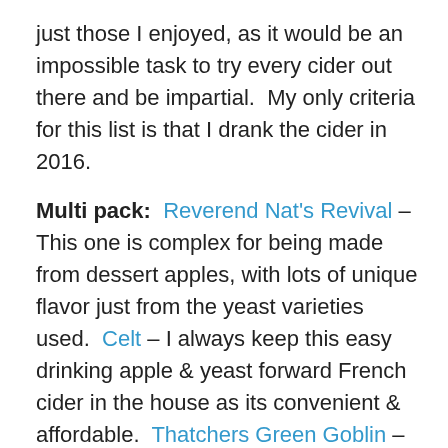just those I enjoyed, as it would be an impossible task to try every cider out there and be impartial.  My only criteria for this list is that I drank the cider in 2016.
Multi pack:  Reverend Nat's Revival – This one is complex for being made from dessert apples, with lots of unique flavor just from the yeast varieties used.  Celt – I always keep this easy drinking apple & yeast forward French cider in the house as its convenient & affordable.  Thatchers Green Goblin – For how commercial it is, I ended up really enjoying this sweeter simple English cider.
Canned:  One Tree Crisp Apple – I don't usually go for plain flagship ciders, but this one had some nice unfiltered apple juice flavor without being over the top sweet.  Cidergeist Semi Dry – This reminded me of French cider; too bad it isn't available locally.  Long Drop Vanilla